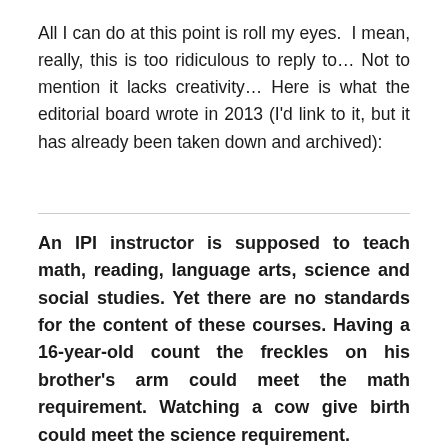All I can do at this point is roll my eyes.  I mean, really, this is too ridiculous to reply to… Not to mention it lacks creativity… Here is what the editorial board wrote in 2013 (I'd link to it, but it has already been taken down and archived):
An IPI instructor is supposed to teach math, reading, language arts, science and social studies. Yet there are no standards for the content of these courses. Having a 16-year-old count the freckles on his brother's arm could meet the math requirement. Watching a cow give birth could meet the science requirement.